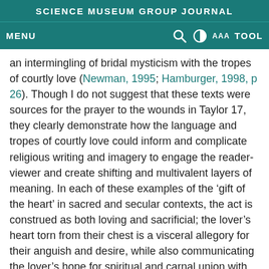SCIENCE MUSEUM GROUP JOURNAL
MENU  [search icon] [contrast icon] AAA  TOOL
an intermingling of bridal mysticism with the tropes of courtly love (Newman, 1995; Hamburger, 1998, p 26). Though I do not suggest that these texts were sources for the prayer to the wounds in Taylor 17, they clearly demonstrate how the language and tropes of courtly love could inform and complicate religious writing and imagery to engage the reader-viewer and create shifting and multivalent layers of meaning. In each of these examples of the ‘gift of the heart’ in sacred and secular contexts, the act is construed as both loving and sacrificial; the lover’s heart torn from their chest is a visceral allegory for their anguish and desire, while also communicating the lover’s hope for spiritual and carnal union with their beloved.